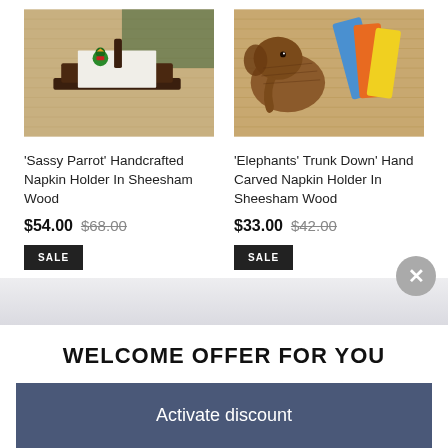[Figure (photo): Photo of 'Sassy Parrot' handcrafted napkin holder in dark sheesham wood with a small parrot figurine on a burlap/woven mat background]
'Sassy Parrot' Handcrafted Napkin Holder In Sheesham Wood
$54.00 $68.00
SALE
[Figure (photo): Photo of 'Elephants Trunk Down' hand carved napkin holder in sheesham wood shaped like elephants, with colorful napkins, on a woven mat background]
'Elephants' Trunk Down' Hand Carved Napkin Holder In Sheesham Wood
$33.00 $42.00
SALE
WELCOME OFFER FOR YOU
Activate discount